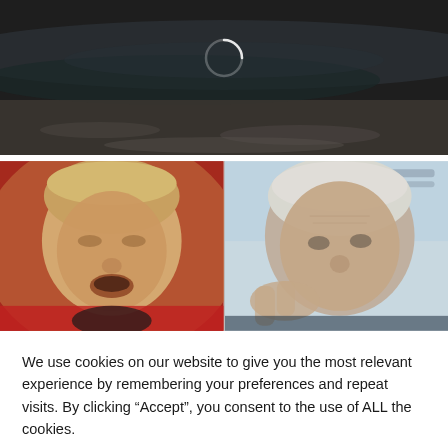[Figure (photo): Dark landscape photo with gravel/muddy ground and water, with a loading spinner circle overlay]
[Figure (photo): Side-by-side photos of two men — left: Donald Trump speaking at a rally with mouth open, red clothing visible in background; right: Joe Biden gesturing with his hand near his face against a light background]
We use cookies on our website to give you the most relevant experience by remembering your preferences and repeat visits. By clicking “Accept”, you consent to the use of ALL the cookies.
Do not sell my personal information.
Cookie Settings
Accept